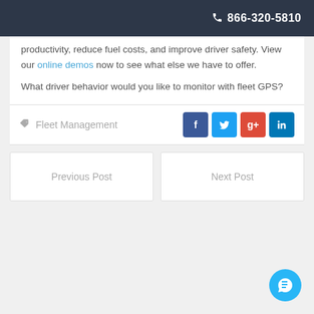866-320-5810
productivity, reduce fuel costs, and improve driver safety. View our online demos now to see what else we have to offer.
What driver behavior would you like to monitor with fleet GPS?
Fleet Management
Previous Post
Next Post